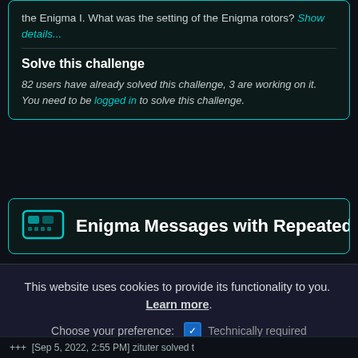the Enigma I. What was the setting of the Enigma rotors? Show details...
Solve this challenge
82 users have already solved this challenge, 3 are working on it.
You need to be logged in to solve this challenge.
Enigma Messages with Repeated
This website uses cookies to provide its functionality to you. Learn more.
Choose your preference:  ✓ Technically required
□ Analytics
Confirm
+++ [Sep 5, 2022, 2:55 PM] zituter solved t